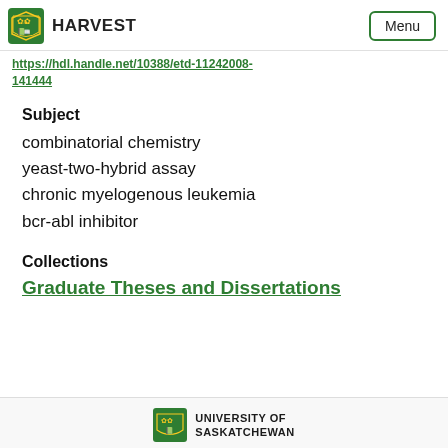HARVEST | Menu
https://hdl.handle.net/10388/etd-11242008-141444
Subject
combinatorial chemistry
yeast-two-hybrid assay
chronic myelogenous leukemia
bcr-abl inhibitor
Collections
Graduate Theses and Dissertations
UNIVERSITY OF SASKATCHEWAN